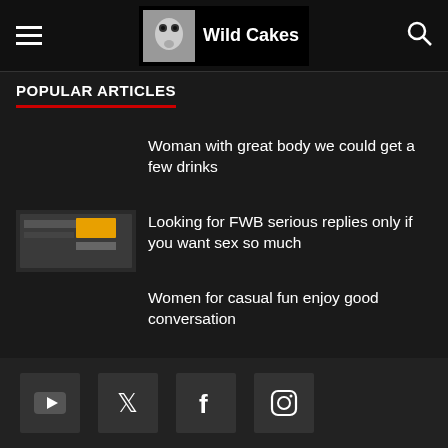Wild Cakes
POPULAR ARTICLES
Woman with great body we could get a few drinks
Looking for FWB serious replies only if you want sex so much
Women for casual fun enjoy good conversation
Honest woman look for a loving man so you can make me squirt
Crazy woman seeking good man Im dirty in bed
Social media links: YouTube, Twitter, Facebook, Instagram